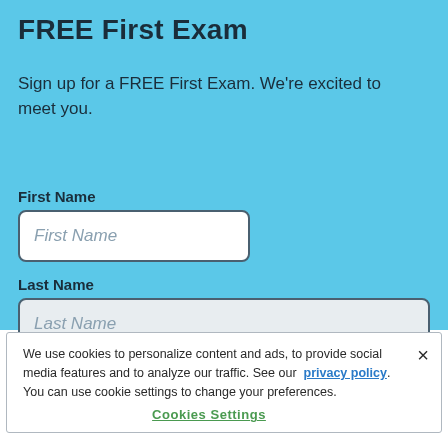FREE First Exam
Sign up for a FREE First Exam. We're excited to meet you.
First Name
First Name
Last Name
Last Name
We use cookies to personalize content and ads, to provide social media features and to analyze our traffic. See our privacy policy. You can use cookie settings to change your preferences.
Cookies Settings